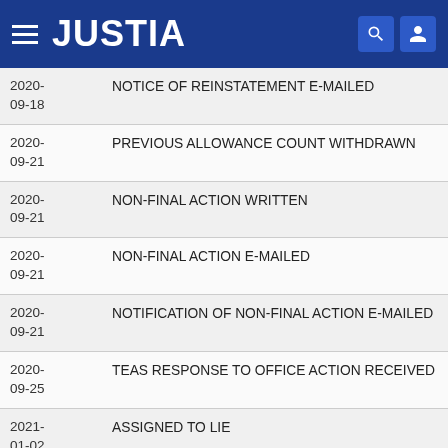[Figure (logo): Justia website header with hamburger menu, JUSTIA logo in white on dark blue background, and search and user icons on the right]
| Date | Event |
| --- | --- |
| 2020-09-18 | NOTICE OF REINSTATEMENT E-MAILED |
| 2020-09-21 | PREVIOUS ALLOWANCE COUNT WITHDRAWN |
| 2020-09-21 | NON-FINAL ACTION WRITTEN |
| 2020-09-21 | NON-FINAL ACTION E-MAILED |
| 2020-09-21 | NOTIFICATION OF NON-FINAL ACTION E-MAILED |
| 2020-09-25 | TEAS RESPONSE TO OFFICE ACTION RECEIVED |
| 2021-01-02 | ASSIGNED TO LIE |